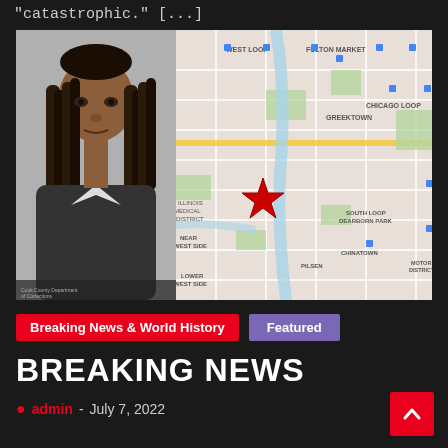“catastrophic.” […]
[Figure (photo): Composite image: mugshot photo of a woman with dreadlocks on the left, overlaid on a Google Maps view of Chicago showing a red star marker near the Near West Side / Illinois Medical District area]
Breaking News & World History
Featured
BREAKING NEWS
admin  -  July 7, 2022